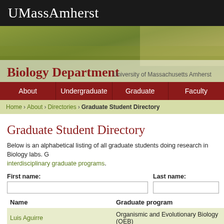UMassAmherst
[Figure (photo): Wheat or grass field banner photo with Biology Department overlay text]
Biology Department — University of Massachusetts Amherst
About | Undergraduate | Graduate | Faculty
Home › About › Directories › Graduate Student Directory
Graduate Student Directory
Below is an alphabetical listing of all graduate students doing research in Biology labs. G... interdisciplinary graduate programs.
First name:
Last name:
| Name | Graduate program |
| --- | --- |
| Luis Aguirre | Organismic and Evolutionary Biology (OEB) |